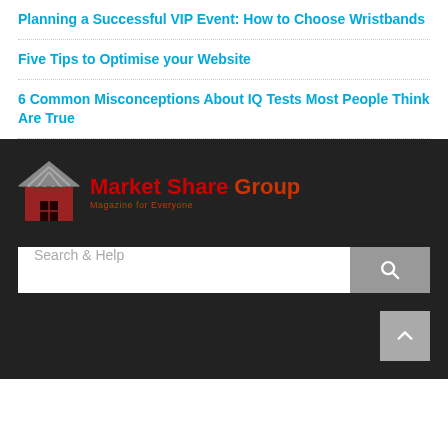Planning a Successful VIP Event: How to Choose Wristbands
Five Tips to Optimise your Website
6 Common Misconceptions About IQ Tests Most People Think Are True
[Figure (logo): Market Share Group logo with red house icon and red text reading 'Market Share Group' with tagline 'Magazine for Everyone']
Search & Help